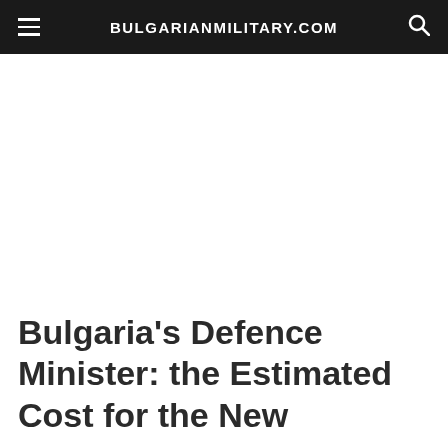BULGARIANMILITARY.COM
Bulgaria’s Defence Minister: the Estimated Cost for the New